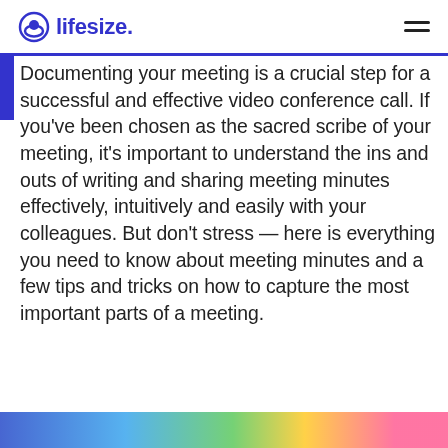lifesize
Documenting your meeting is a crucial step for a successful and effective video conference call. If you've been chosen as the sacred scribe of your meeting, it's important to understand the ins and outs of writing and sharing meeting minutes effectively, intuitively and easily with your colleagues. But don't stress — here is everything you need to know about meeting minutes and a few tips and tricks on how to capture the most important parts of a meeting.